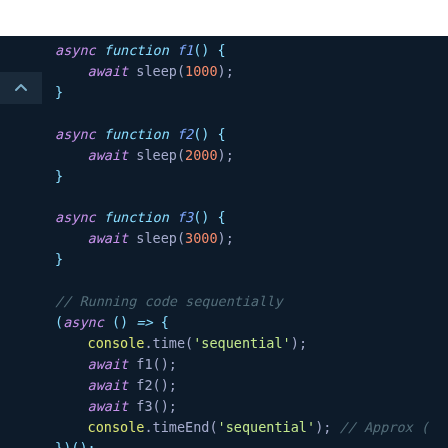[Figure (screenshot): Dark-themed code editor screenshot showing JavaScript async functions f1, f2, f3 with sleep calls and a sequential IIFE using console.time and console.timeEnd.]